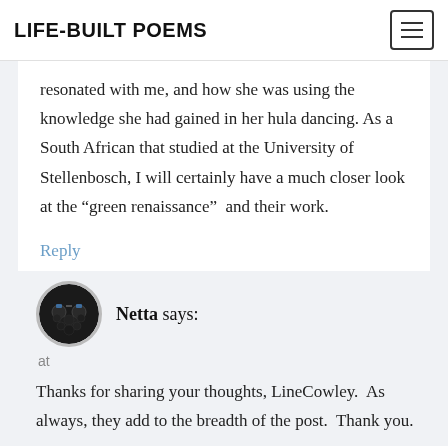LIFE-BUILT POEMS
resonated with me, and how she was using the knowledge she had gained in her hula dancing. As a South African that studied at the University of Stellenbosch, I will certainly have a much closer look at the “green renaissance”  and their work.
Reply
[Figure (photo): Circular avatar photo of Netta showing a dark round shape with sunglasses, resembling a face made of blackberries.]
Netta says:
at
Thanks for sharing your thoughts, LineCowley.  As always, they add to the breadth of the post.  Thank you.